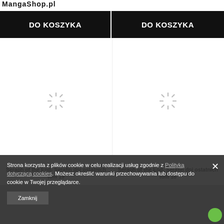MangaShop.pl
DO KOSZYKA
DO KOSZYKA
[Figure (other): Loading spinner icon (left product placeholder)]
[Figure (other): Loading spinner icon (right product placeholder)]
Seraph of the End- Serafin dni ostatnich tom 19
Seraph of the End- Serafin dni ostatnich tom 18
Strona korzysta z plików cookie w celu realizacji usług zgodnie z Polityką dotyczącą cookies. Możesz określić warunki przechowywania lub dostępu do cookie w Twojej przeglądarce.
Zamknij